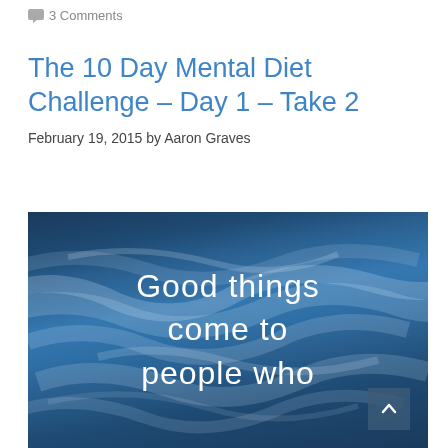3 Comments
The 10 Day Mental Diet Challenge – Day 1 – Take 2
February 19, 2015 by Aaron Graves
[Figure (photo): Sky with clouds image containing motivational quote text: 'Good things come to people who' overlaid in white. A dark scroll-to-top button is visible in the bottom-right corner.]